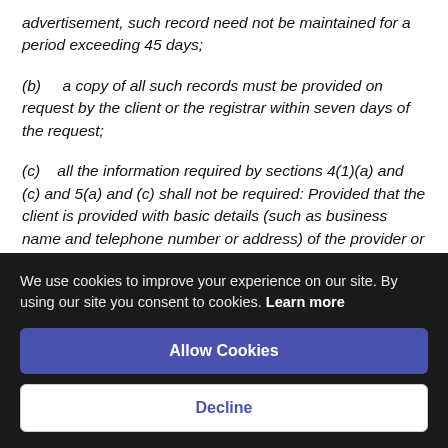advertisement, such record need not be maintained for a period exceeding 45 days;
(b)    a copy of all such records must be provided on request by the client or the registrar within seven days of the request;
(c)    all the information required by sections 4(1)(a) and (c) and 5(a) and (c) shall not be required: Provided that the client is provided with basic details (such as business name and telephone number or address) of the provider or relevant product
We use cookies to improve your experience on our site. By using our site you consent to cookies. Learn more
Allow Cookies
Decline